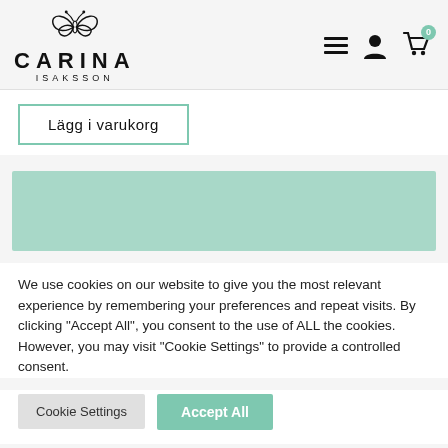[Figure (logo): Carina Isaksson logo with butterfly/leaf icon above stylized text CARINA ISAKSSON]
Lägg i varukorg
[Figure (illustration): Solid mint/sage green rectangle placeholder image]
We use cookies on our website to give you the most relevant experience by remembering your preferences and repeat visits. By clicking "Accept All", you consent to the use of ALL the cookies. However, you may visit "Cookie Settings" to provide a controlled consent.
Cookie Settings
Accept All